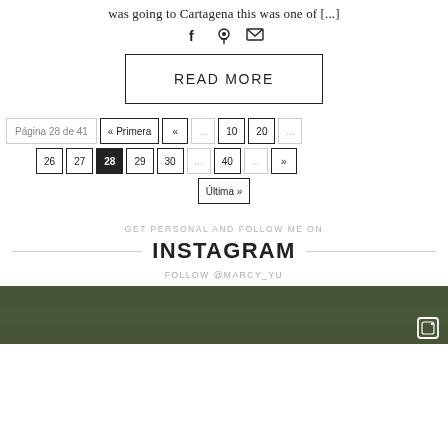was going to Cartagena this was one of [...]
[Figure (other): Social share icons: Facebook, Pinterest, Email]
READ MORE
Página 28 de 41   « Primera  «  ...  10  20  ...  26  27  28  29  30  ...  40  ...  »  Última »
GET PERSONAL AND FOLLOW ME ON
INSTAGRAM
FOLLOW @MARCY_YU
[Figure (photo): Dark green foliage photo with Instagram icon overlay]